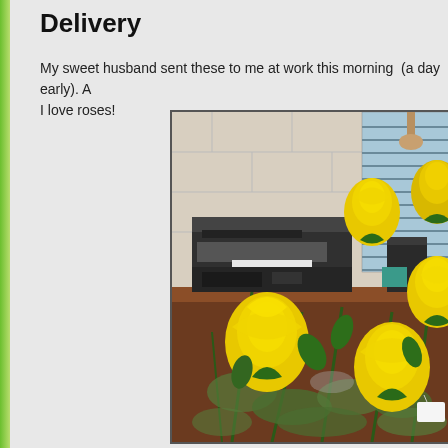Delivery
My sweet husband sent these to me at work this morning  (a day early). A I love roses!
[Figure (photo): Yellow roses bouquet in a vase on a desk at a workplace office, with an HP printer/scanner in the background and a window with blinds. Multiple yellow rose buds are prominently visible in the foreground.]